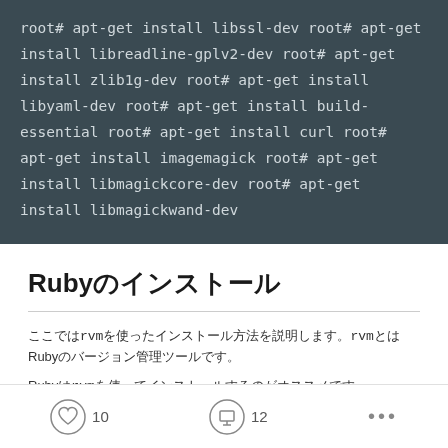root# apt-get install libssl-dev
root# apt-get install libreadline-gplv2-dev
root# apt-get install zlib1g-dev
root# apt-get install libyaml-dev
root# apt-get install build-essential
root# apt-get install curl
root# apt-get install imagemagick
root# apt-get install libmagickcore-dev
root# apt-get install libmagickwand-dev
Rubyのインストール
ここではrvmを使ったインストール方法を説明します。rvmとはRubyのバージョン管理ツールです。
Rubyはrvmを使ってインストールするのがオススメです。